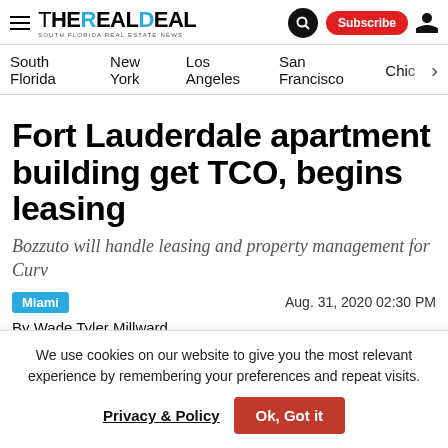The Real Deal — South Florida Real Estate News | Search | Subscribe
South Florida  New York  Los Angeles  San Francisco  Chic
Fort Lauderdale apartment building get TCO, begins leasing
Bozzuto will handle leasing and property management for Curv
Miami   Aug. 31, 2020 02:30 PM
By Wade Tyler Millward
We use cookies on our website to give you the most relevant experience by remembering your preferences and repeat visits. Privacy & Policy  Ok, Got it